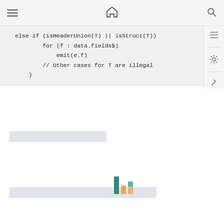Navigation bar with menu, home, and search icons
else if (isHeaderUnion(T) || isStruct(T))
    for (f : data.fields$)
        emit(e.f)
    // Other cases for T are illegal
}
[Figure (other): Placeholder content bars and a small bar chart with teal and orange bars]
[Figure (bar-chart): Small grouped bar chart with teal and orange bars of varying heights]